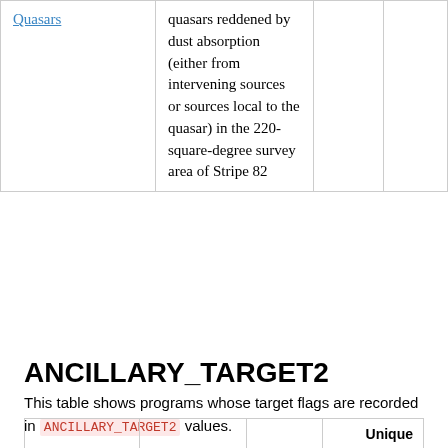|  |  |  |  |
| --- | --- | --- | --- |
| Quasars | quasars reddened by dust absorption (either from intervening sources or sources local to the quasar) in the 220-square-degree survey area of Stripe 82 |  |  |
ANCILLARY_TARGET2
This table shows programs whose target flags are recorded in ANCILLARY_TARGET2 values.
|  |  |  | Unique |
| --- | --- | --- | --- |